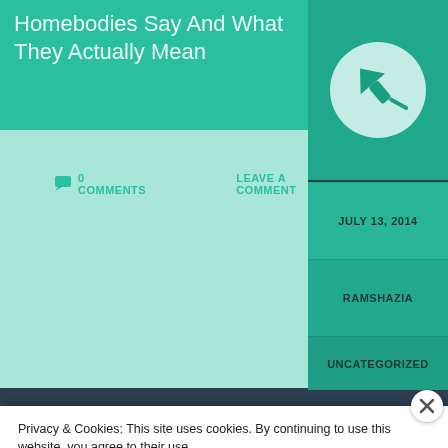Homebodies Say And What They Actually Mean
[Figure (illustration): Teal pushpin/thumbtack icon inside a light mint circle on a dark teal background]
JULY 13, 2014
RAMSHAZIA
UNCATEGORIZED
0 COMMENTS    LEAVE A COMMENT
Privacy & Cookies: This site uses cookies. By continuing to use this website, you agree to their use.
To find out more, including how to control cookies, see here: Cookie Policy
Close and accept